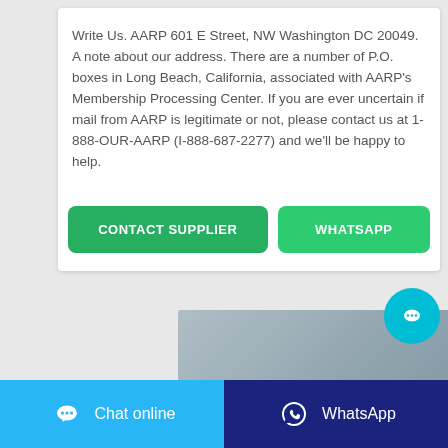Write Us. AARP 601 E Street, NW Washington DC 20049. A note about our address. There are a number of P.O. boxes in Long Beach, California, associated with AARP's Membership Processing Center. If you are ever uncertain if mail from AARP is legitimate or not, please contact us at 1-888-OUR-AARP (I-888-687-2277) and we'll be happy to help.
[Figure (screenshot): Two call-to-action buttons: 'CONTACT SUPPLIER' (dark green) and 'WHATSAPP' (light green)]
[Figure (photo): Partial photo showing metallic/steel surface, partially cropped at bottom of page]
[Figure (screenshot): Bottom navigation bar with 'Chat online' (light blue) and 'WhatsApp' (dark blue) buttons with icons]